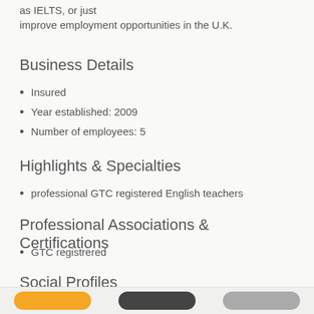as IELTS, or just improve employment opportunities in the U.K.
Business Details
Insured
Year established: 2009
Number of employees: 5
Highlights & Specialties
professional GTC registered English teachers
Professional Associations & Certifications
GTC registrered
Social Profiles
Facebook Profile